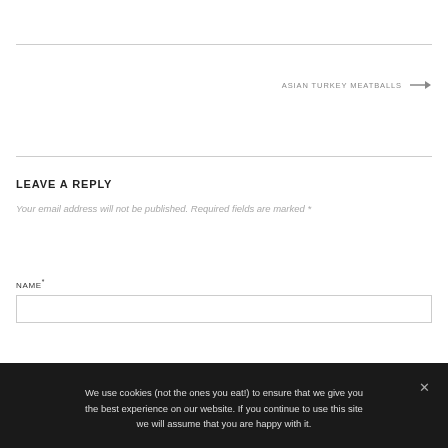ASIAN TURKEY MEATBALLS →
LEAVE A REPLY
Your email address will not be published. Required fields are marked *
NAME*
We use cookies (not the ones you eat!) to ensure that we give you the best experience on our website. If you continue to use this site we will assume that you are happy with it.